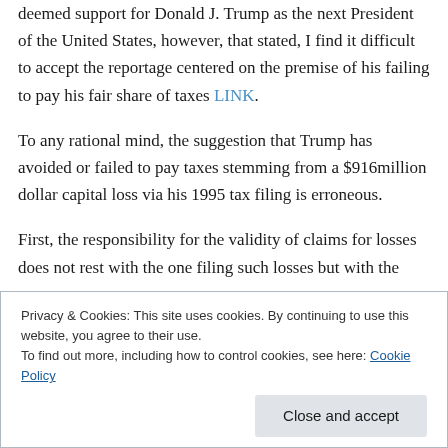deemed support for Donald J. Trump as the next President of the United States, however, that stated, I find it difficult to accept the reportage centered on the premise of his failing to pay his fair share of taxes LINK.
To any rational mind, the suggestion that Trump has avoided or failed to pay taxes stemming from a $916million dollar capital loss via his 1995 tax filing is erroneous.
First, the responsibility for the validity of claims for losses does not rest with the one filing such losses but with the
Privacy & Cookies: This site uses cookies. By continuing to use this website, you agree to their use.
To find out more, including how to control cookies, see here: Cookie Policy